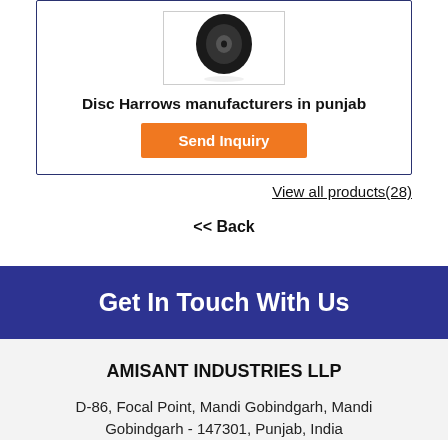[Figure (photo): Product image of Disc Harrows — circular black disc on white background inside a bordered card]
Disc Harrows manufacturers in punjab
Send Inquiry
View all products(28)
<< Back
Get In Touch With Us
AMISANT INDUSTRIES LLP
D-86, Focal Point, Mandi Gobindgarh, Mandi Gobindgarh - 147301, Punjab, India